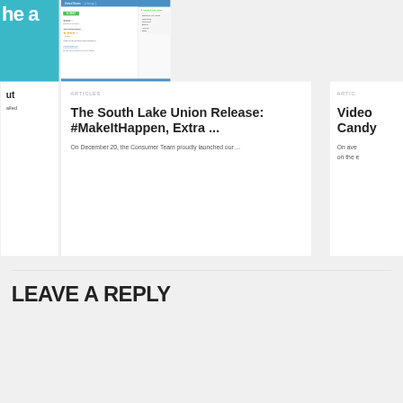[Figure (screenshot): Screenshot of a web application or marketplace listing page with blue header, green button, star ratings, and bar chart data rows]
[Figure (photo): Partial photo of hands on right side, partially cropped]
ARTICLES
The South Lake Union Release: #MakeItHappen, Extra ...
On December 20, the Consumer Team proudly launched our ...
ARTIC
Video Candy
On aver on the e
LEAVE A REPLY